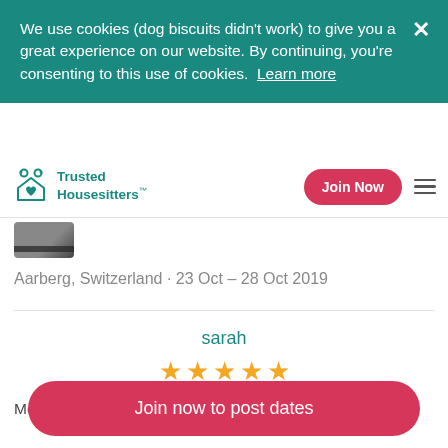We use cookies (dog biscuits didn't work) to give you a great experience on our website. By continuing, you're consenting to this use of cookies.  Learn more
[Figure (logo): Trusted Housesitters logo with teal icon and text]
Join Now
[Figure (photo): Small property/listing thumbnail image]
Aarberg, Switzerland · 23 Oct – 28 Oct 2019
sarah
★★★★★
Meagan and Jacob are friendly, respectful house
Join now to post dates